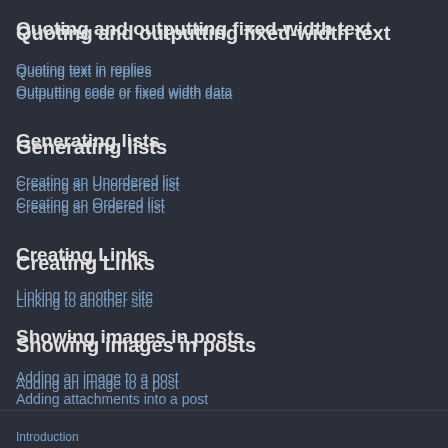Quoting and outputting fixed-width text
Quoting text in replies
Outputting code or fixed width data
Generating lists
Creating an Unordered list
Creating an Ordered list
Creating Links
Linking to another site
Showing images in posts
Adding an image to a post
Adding attachments into a post
Other matters
Can I add my own tags?
Introduction